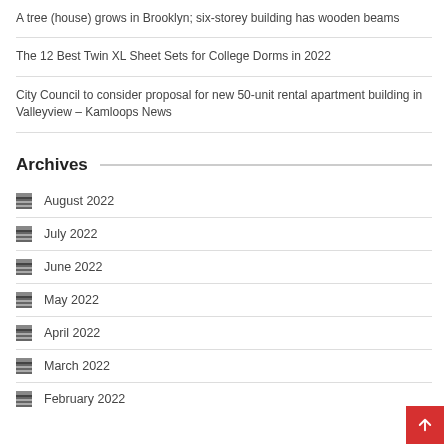A tree (house) grows in Brooklyn; six-storey building has wooden beams
The 12 Best Twin XL Sheet Sets for College Dorms in 2022
City Council to consider proposal for new 50-unit rental apartment building in Valleyview – Kamloops News
Archives
August 2022
July 2022
June 2022
May 2022
April 2022
March 2022
February 2022